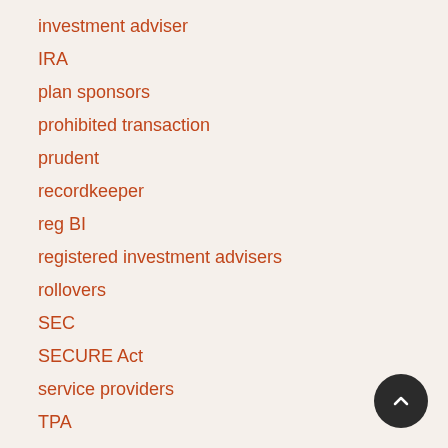investment adviser
IRA
plan sponsors
prohibited transaction
prudent
recordkeeper
reg BI
registered investment advisers
rollovers
SEC
SECURE Act
service providers
TPA